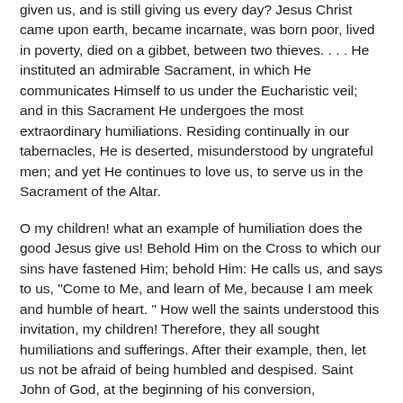given us, and is still giving us every day? Jesus Christ came upon earth, became incarnate, was born poor, lived in poverty, died on a gibbet, between two thieves. . . . He instituted an admirable Sacrament, in which He communicates Himself to us under the Eucharistic veil; and in this Sacrament He undergoes the most extraordinary humiliations. Residing continually in our tabernacles, He is deserted, misunderstood by ungrateful men; and yet He continues to love us, to serve us in the Sacrament of the Altar.
O my children! what an example of humiliation does the good Jesus give us! Behold Him on the Cross to which our sins have fastened Him; behold Him: He calls us, and says to us, "Come to Me, and learn of Me, because I am meek and humble of heart. " How well the saints understood this invitation, my children! Therefore, they all sought humiliations and sufferings. After their example, then, let us not be afraid of being humbled and despised. Saint John of God, at the beginning of his conversion, counterfeited madness, ran about the streets, and was followed by the populace, who threw stones at him; he always came in